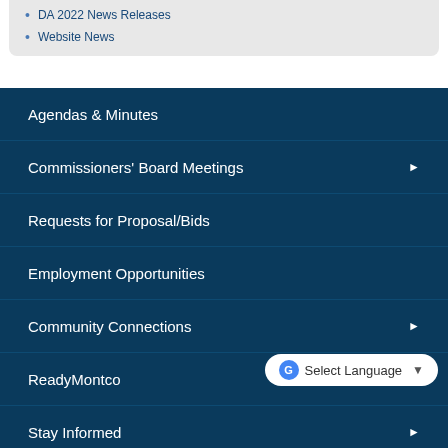DA 2022 News Releases
Website News
Agendas & Minutes
Commissioners' Board Meetings
Requests for Proposal/Bids
Employment Opportunities
Community Connections
ReadyMontco
Stay Informed